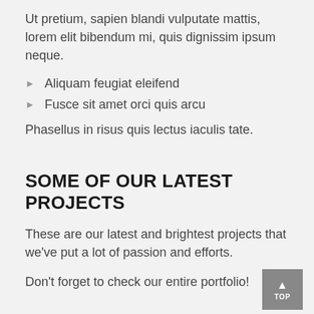Ut pretium, sapien blandi vulputate mattis, lorem elit bibendum mi, quis dignissim ipsum neque.
Aliquam feugiat eleifend
Fusce sit amet orci quis arcu
Phasellus in risus quis lectus iaculis tate.
SOME OF OUR LATEST PROJECTS
These are our latest and brightest projects that we've put a lot of passion and efforts.
Don't forget to check our entire portfolio!